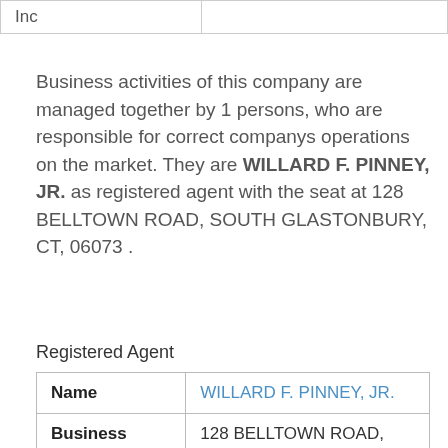| Inc |  |
| --- | --- |
| Inc |  |
Business activities of this company are managed together by 1 persons, who are responsible for correct companys operations on the market. They are WILLARD F. PINNEY, JR. as registered agent with the seat at 128 BELLTOWN ROAD, SOUTH GLASTONBURY, CT, 06073 .
Registered Agent
| Name | Business |
| --- | --- |
| Name | WILLARD F. PINNEY, JR. |
| Business | 128 BELLTOWN ROAD, |